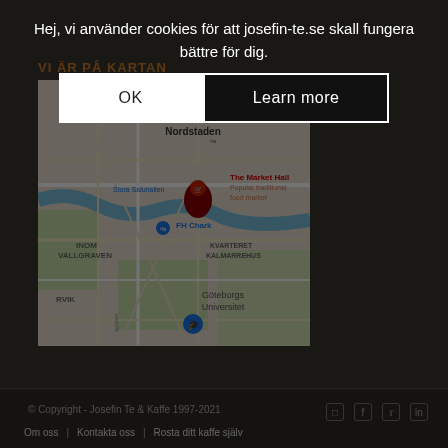Hej, vi använder cookies för att josefin-te.se skall fungera bättre för dig.
OK
Learn more
VI ÄR PÅ KARTAN
[Figure (map): Google Maps screenshot showing Nordstaden area in Gothenburg, Sweden, with The Market Hall (Popular traditional food market), Stora Saluhallen, FH Chark, INOM VALLGRAVEN, KVARTERET KALMARREHUS, Göteborgs Universitet, E45 motorway label, and RVIK area visible.]
© Copyright - Josefin Te & Kaffe 1997-2021   Om oss | Kontakta oss | Rosta ditt kaffe själv